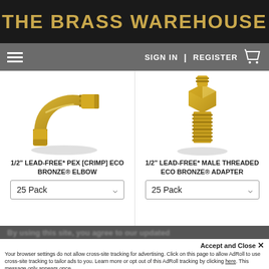THE BRASS WAREHOUSE
SIGN IN | REGISTER
[Figure (photo): 1/2 inch lead-free PEX crimp eco bronze elbow brass fitting]
1/2" LEAD-FREE* PEX [CRIMP] ECO BRONZE® ELBOW
25 Pack
[Figure (photo): 1/2 inch lead-free male threaded eco bronze adapter brass fitting]
1/2" LEAD-FREE* MALE THREADED ECO BRONZE® ADAPTER
25 Pack
By using this site, you agree to our updated
Accept and Close ×
Your browser settings do not allow cross-site tracking for advertising. Click on this page to allow AdRoll to use cross-site tracking to tailor ads to you. Learn more or opt out of this AdRoll tracking by clicking here. This message only appears once.